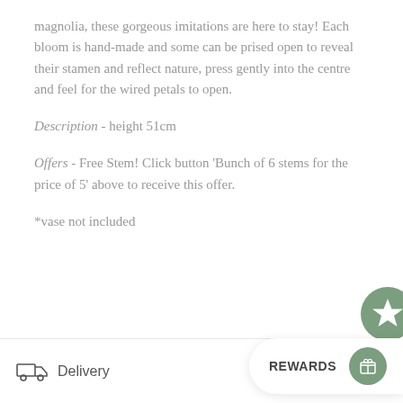magnolia, these gorgeous imitations are here to stay! Each bloom is hand-made and some can be prised open to reveal their stamen and reflect nature, press gently into the centre and feel for the wired petals to open.
Description - height 51cm
Offers - Free Stem! Click button 'Bunch of 6 stems for the price of 5' above to receive this offer.
*vase not included
[Figure (illustration): Green circular badge with a white star icon]
Delivery | REWARDS